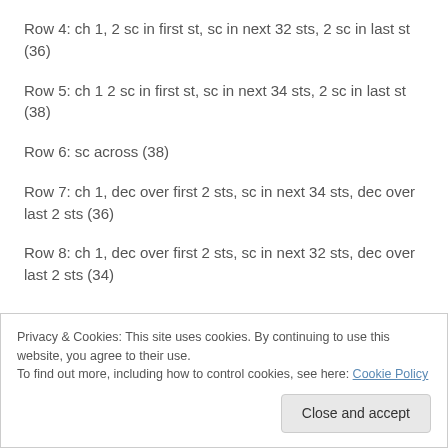Row 4: ch 1, 2 sc in first st, sc in next 32 sts, 2 sc in last st (36)
Row 5: ch 1 2 sc in first st, sc in next 34 sts, 2 sc in last st (38)
Row 6: sc across (38)
Row 7: ch 1, dec over first 2 sts, sc in next 34 sts, dec over last 2 sts (36)
Row 8: ch 1, dec over first 2 sts, sc in next 32 sts, dec over last 2 sts (34)
Privacy & Cookies: This site uses cookies. By continuing to use this website, you agree to their use. To find out more, including how to control cookies, see here: Cookie Policy